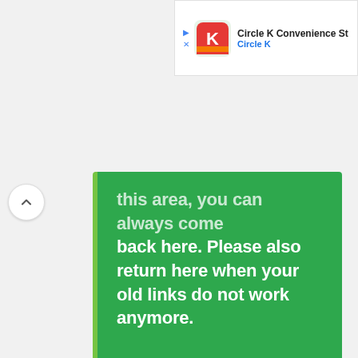[Figure (screenshot): Circle K Convenience Store ad banner with logo, play and dismiss icons, title 'Circle K Convenience St' and subtitle 'Circle K' in blue]
[Figure (other): Up chevron navigation button (white circle with upward arrow)]
this area, you can always come back here. Please also return here when your old links do not work anymore.